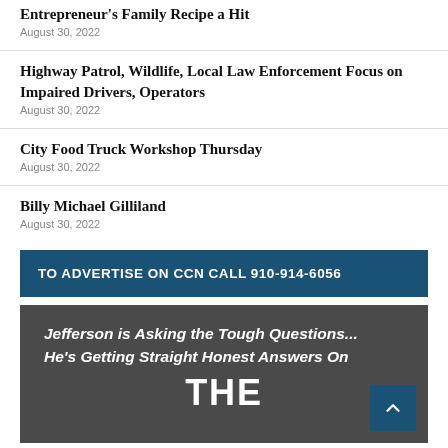Entrepreneur's Family Recipe a Hit
August 30, 2022
Highway Patrol, Wildlife, Local Law Enforcement Focus on Impaired Drivers, Operators
August 30, 2022
City Food Truck Workshop Thursday
August 30, 2022
Billy Michael Gilliland
August 30, 2022
TO ADVERTISE ON CCN CALL 910-914-6056
[Figure (infographic): Dark gray promotional box with italic bold white text reading: Jefferson is Asking the Tough Questions... He's Getting Straight Honest Answers On THE, with a blue scroll-to-top button in the bottom right corner.]